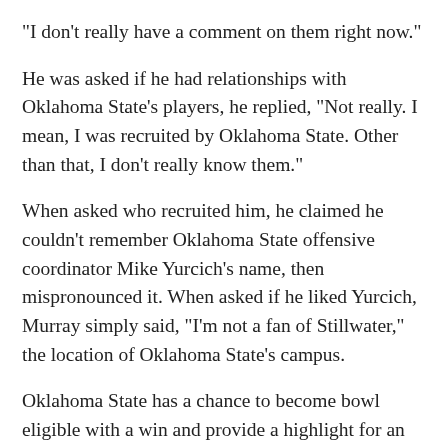"I don't really have a comment on them right now."
He was asked if he had relationships with Oklahoma State's players, he replied, "Not really. I mean, I was recruited by Oklahoma State. Other than that, I don't really know them."
When asked who recruited him, he claimed he couldn't remember Oklahoma State offensive coordinator Mike Yurcich's name, then mispronounced it. When asked if he liked Yurcich, Murray simply said, "I'm not a fan of Stillwater," the location of Oklahoma State's campus.
Oklahoma State has a chance to become bowl eligible with a win and provide a highlight for an up-and-down season that includes wins over Texas and Boise State and an ugly loss to Kansas State.